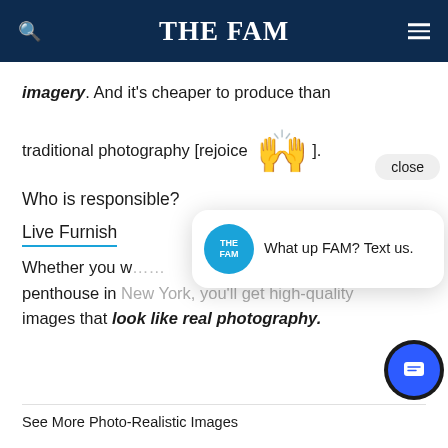THE FAM
imagery. And it's cheaper to produce than traditional photography [rejoice 🙌].
Who is responsible?
Live Furnish
Whether you want a penthouse in New York, you'll get high-quality images that look like real photography.
[Figure (screenshot): Chat popup overlay with THE FAM logo avatar and text 'What up FAM? Text us.']
See More Photo-Realistic Images